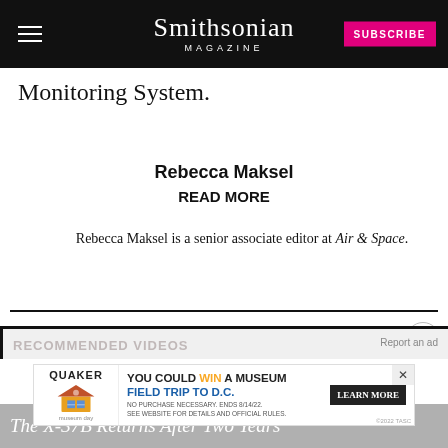Smithsonian Magazine | SUBSCRIBE
Monitoring System.
Rebecca Maksel
READ MORE
Rebecca Maksel is a senior associate editor at Air & Space.
[Figure (screenshot): Recommended Videos section with ad banner (Quaker Museum Day promotion) and partial X-37B video thumbnail at bottom]